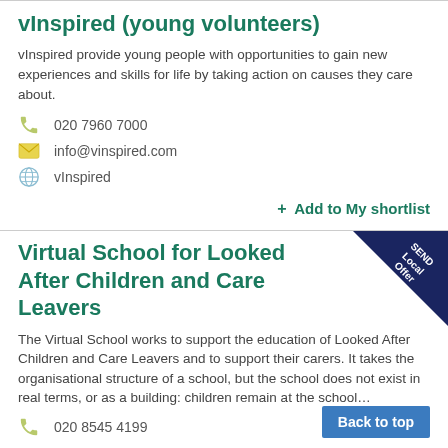vInspired (young volunteers)
vInspired provide young people with opportunities to gain new experiences and skills for life by taking action on causes they care about.
020 7960 7000
info@vinspired.com
vInspired
+ Add to My shortlist
Virtual School for Looked After Children and Care Leavers
The Virtual School works to support the education of Looked After Children and Care Leavers and to support their carers. It takes the organisational structure of a school, but the school does not exist in real terms, or as a building: children remain at the school…
020 8545 4199